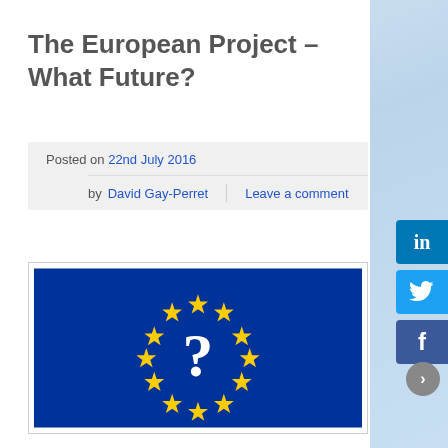The European Project – What Future?
Posted on 22nd July 2016 by David Gay-Perret  Leave a comment
[Figure (illustration): European Union flag with 12 yellow stars arranged in a circle on a blue background, but with a white question mark in the center instead of the usual symbol.]